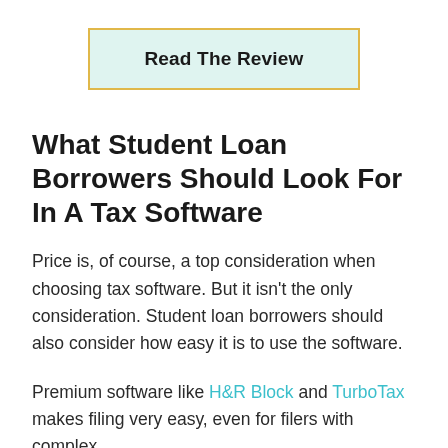[Figure (other): A button/call-to-action box with mint green background and gold/yellow border containing bold text 'Read The Review']
What Student Loan Borrowers Should Look For In A Tax Software
Price is, of course, a top consideration when choosing tax software. But it isn't the only consideration. Student loan borrowers should also consider how easy it is to use the software.
Premium software like H&R Block and TurboTax makes filing very easy, even for filers with complex